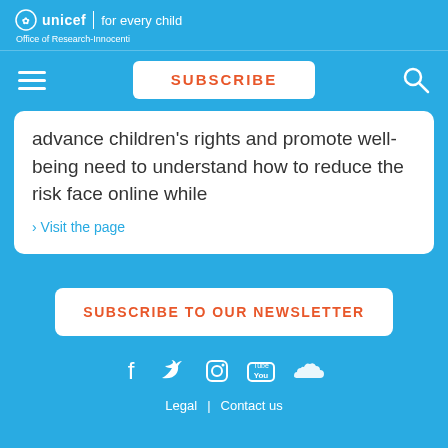unicef for every child | Office of Research-Innocenti
SUBSCRIBE
advance children's rights and promote well-being need to understand how to reduce the risk face online while
> Visit the page
SUBSCRIBE TO OUR NEWSLETTER
[Figure (other): Social media icons: Facebook, Twitter, Instagram, YouTube, SoundCloud]
Legal | Contact us